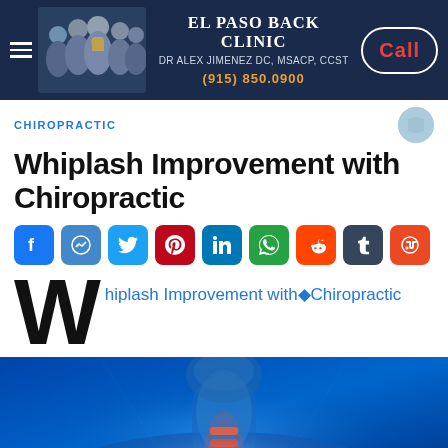El Paso Back Clinic — Dr Alex Jimenez DC, MSACP, CCST — (915) 850.0900 — Call
CHIROPRACTIC
Whiplash Improvement with Chiropractic
[Figure (infographic): Social media sharing icons row: Facebook, Messenger, Twitter, Pinterest, LinkedIn, WhatsApp, Reddit, Tumblr, StumbleUpon]
Whiplash Improvement with◆Chiropractic
[Figure (photo): Medical illustration of a human neck and spine with glowing blue x-ray style rendering, highlighting cervical vertebrae with orange/red inflamed area]